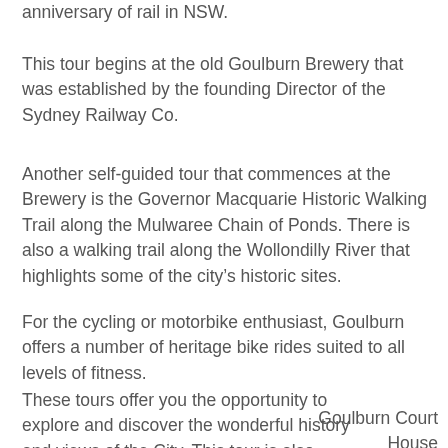anniversary of rail in NSW.
This tour begins at the old Goulburn Brewery that was established by the founding Director of the Sydney Railway Co.
Another self-guided tour that commences at the Brewery is the Governor Macquarie Historic Walking Trail along the Mulwaree Chain of Ponds. There is also a walking trail along the Wollondilly River that highlights some of the city’s historic sites.
For the cycling or motorbike enthusiast, Goulburn offers a number of heritage bike rides suited to all levels of fitness.
These tours offer you the opportunity to explore and discover the wonderful history and views of the City. This tour is also suitable for self-guided drives of the City on inclement days or for the
Goulburn Court House